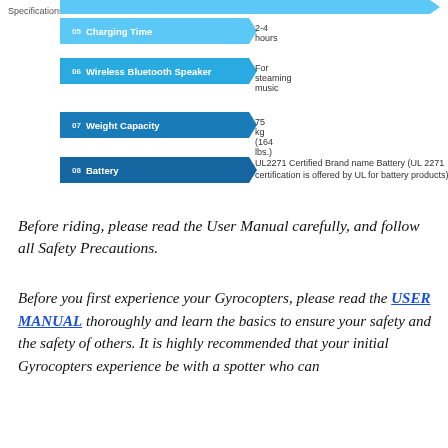[Figure (infographic): Specifications infographic with arrow/chevron rows showing items 05-08: Charging Time (2-4 hours), Wireless Bluetooth Speaker (For steaming music), Weight Capacity (75 kg / 164 lbs.), Battery (UL2271 Certified Brand name Battery)]
Before riding, please read the User Manual carefully, and follow all Safety Precautions.
Before you first experience your Gyrocopters, please read the USER MANUAL thoroughly and learn the basics to ensure your safety and the safety of others. It is highly recommended that your initial Gyrocopters experience be with a spotter who can